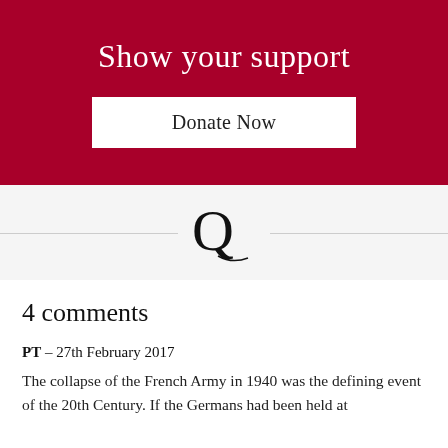Show your support
Donate Now
[Figure (logo): Quillette Q logo with decorative swash, centered between two horizontal divider lines]
4 comments
PT – 27th February 2017
The collapse of the French Army in 1940 was the defining event of the 20th Century. If the Germans had been held at